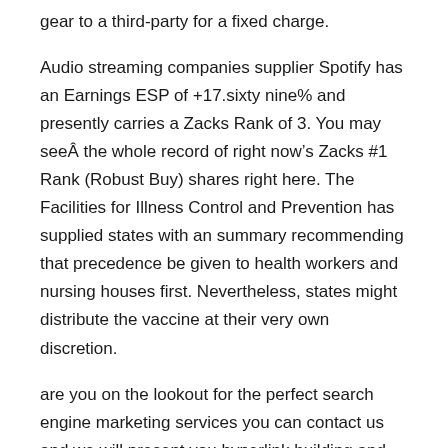gear to a third-party for a fixed charge.
Audio streaming companies supplier Spotify has an Earnings ESP of +17.sixty nine% and presently carries a Zacks Rank of 3. You may seeÂ the whole record of right now’s Zacks #1 Rank (Robust Buy) shares right here. The Facilities for Illness Control and Prevention has supplied states with an summary recommending that precedence be given to health workers and nursing houses first. Nevertheless, states might distribute the vaccine at their very own discretion.
are you on the lookout for the perfect search engine marketing services you can contact us and we will present you hyperlink building and internet